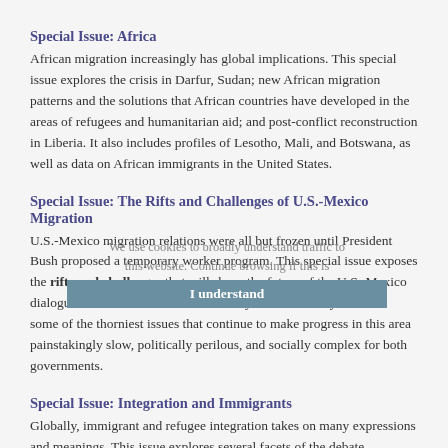Special Issue: Africa
African migration increasingly has global implications. This special issue explores the crisis in Darfur, Sudan; new African migration patterns and the solutions that African countries have developed in the areas of refugees and humanitarian aid; and post-conflict reconstruction in Liberia. It also includes profiles of Lesotho, Mali, and Botswana, as well as data on African immigrants in the United States.
Special Issue: The Rifts and Challenges of U.S.-Mexico Migration
U.S.-Mexico migration relations were all but frozen until President Bush proposed a temporary worker program. This special issue exposes the rifts and challenges that will shape the future of the U.S.-Mexico dialogue. These resources and articles by seasoned analysts tackle some of the thorniest issues that continue to make progress in this area painstakingly slow, politically perilous, and socially complex for both governments.
Special Issue: Integration and Immigrants
Globally, immigrant and refugee integration takes on many expressions and meanings. This issue explores several facets of the debate.